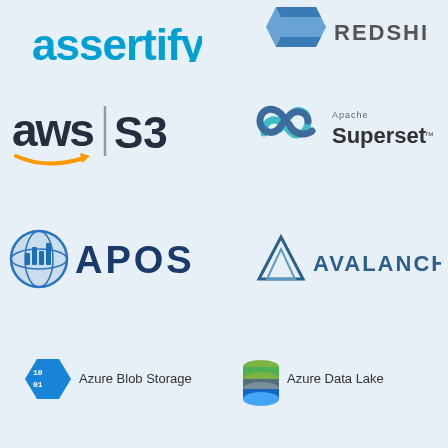[Figure (logo): Partial logos at top: AssertId/Datorama-style logo (left, blue text partially cut off) and Amazon Redshift logo (right, partially cut off)]
[Figure (logo): AWS S3 logo: 'aws' text with orange smile arrow and '| S3' text]
[Figure (logo): Apache Superset logo: infinity symbol in teal/blue and 'Apache Superset' text]
[Figure (logo): APOS logo: blue globe icon with bar chart and 'APOS' text in dark blue]
[Figure (logo): Avalanche logo: triangle/mountain icon and 'AVALANCHE' text in blue]
[Figure (logo): Azure Blob Storage logo: hexagon with binary digits icon and 'Azure Blob Storage' text]
[Figure (logo): Azure Data Lake logo: cylindrical database icon in green/teal/blue and 'Azure Data Lake' text]